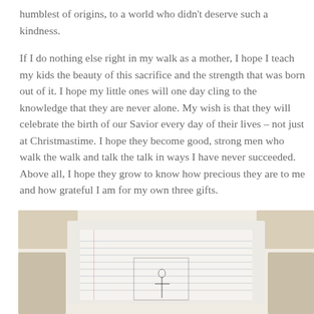humblest of origins, to a world who didn't deserve such a kindness.
If I do nothing else right in my walk as a mother, I hope I teach my kids the beauty of this sacrifice and the strength that was born out of it. I hope my little ones will one day cling to the knowledge that they are never alone. My wish is that they will celebrate the birth of our Savior every day of their lives – not just at Christmastime. I hope they become good, strong men who walk the walk and talk the talk in ways I have never succeeded. Above all, I hope they grow to know how precious they are to me and how grateful I am for my own three gifts.
[Figure (photo): A photograph showing what appears to be a child's pencil drawing or sketch on paper, with some beige/tan colored surfaces or books on either side. The drawing appears to be a simple sketch with lines and possibly a small figure or cross shape.]